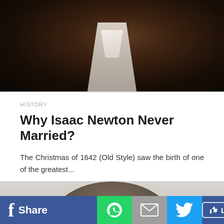[Figure (photo): Top portion of a dark portrait painting, showing robes/collar area of a historical figure against a dark background]
HISTORY
Why Isaac Newton Never Married?
The Christmas of 1642 (Old Style) saw the birth of one of the greatest...
[Figure (photo): Top of a man's head with gray-streaked dark hair and glasses visible at bottom edge, against a light gray background]
Share  [WhatsApp icon]  [Email icon]  [Twitter icon]  Like